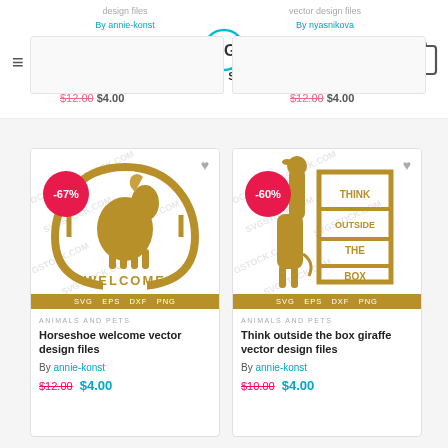SVG STOCK
design files By annie-konst $12.00 $4.00
vector design files By nyasnikova $12.00 $4.00
[Figure (illustration): Horseshoe welcome vector design SVG with horse, -67% badge, format bar SVG EPS DXF PNG, watermark overlay]
ANIMALS AND PETS
Horseshoe welcome vector design files
By annie-konst
$12.00  $4.00
[Figure (illustration): Think outside the box giraffe SVG design, -60% badge, format bar SVG EPS DXF PNG, watermark overlay]
ANIMALS AND PETS
Think outside the box giraffe vector design files
By annie-konst
$10.00  $4.00